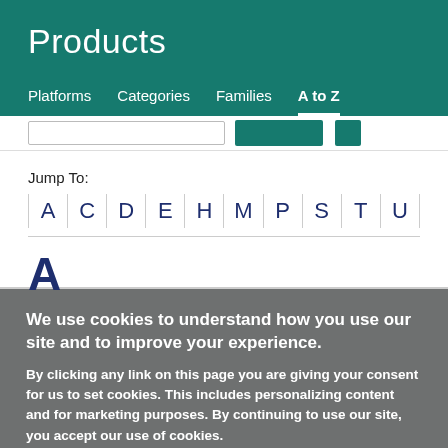Products
Platforms   Categories   Families   A to Z
Jump To:
A
C
D
E
H
M
P
S
T
U
A
We use cookies to understand how you use our site and to improve your experience.
By clicking any link on this page you are giving your consent for us to set cookies. This includes personalizing content and for marketing purposes. By continuing to use our site, you accept our use of cookies.